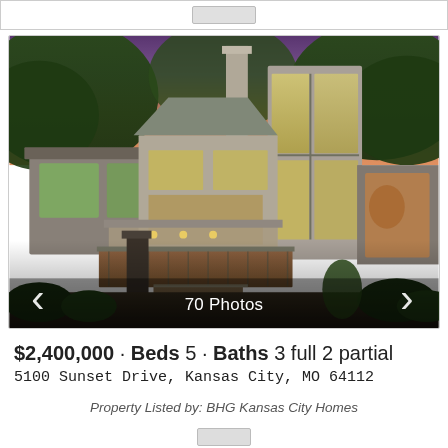[Figure (photo): Top strip with logo placeholder]
[Figure (photo): Exterior photo of a modern two-story luxury home at dusk with large glass windows, wood deck, stairs, and lush green trees in background. Shows '70 Photos' overlay with left and right navigation arrows.]
$2,400,000 · Beds 5 · Baths 3 full 2 partial
5100 Sunset Drive, Kansas City, MO 64112
Property Listed by: BHG Kansas City Homes